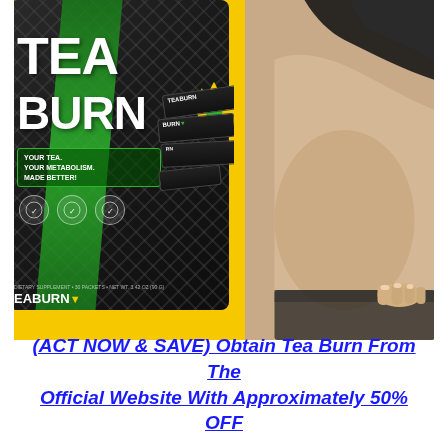[Figure (photo): Composite image showing Tea Burn supplement product packaging (black bags with green logo and stick packets) on a yellow background on the left, and a close-up photo of a woman's midsection in black lingerie showing body fat on the right.]
(ACT NOW & SAVE) Obtain Tea Burn From The Official Website With Approximately 50% OFF